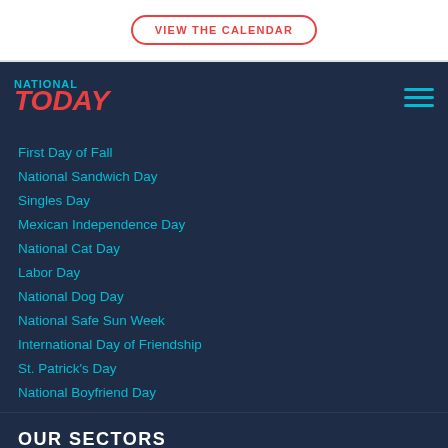VIEW THE CALENDAR
[Figure (logo): National Today logo with 'NATIONAL' in cyan and 'TODAY' in red italic bold]
First Day of Fall
National Sandwich Day
Singles Day
Mexican Independence Day
National Cat Day
Labor Day
National Dog Day
National Safe Sun Week
International Day of Friendship
St. Patrick's Day
National Boyfriend Day
OUR SECTORS
Pet Marketing